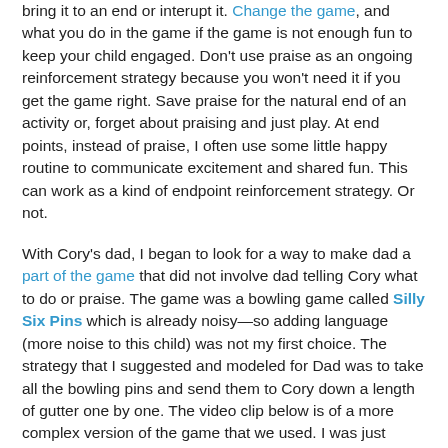bring it to an end or interupt it. Change the game, and what you do in the game if the game is not enough fun to keep your child engaged. Don't use praise as an ongoing reinforcement strategy because you won't need it if you get the game right. Save praise for the natural end of an activity or, forget about praising and just play. At end points, instead of praise, I often use some little happy routine to communicate excitement and shared fun. This can work as a kind of endpoint reinforcement strategy. Or not.
With Cory's dad, I began to look for a way to make dad a part of the game that did not involve dad telling Cory what to do or praise. The game was a bowling game called Silly Six Pins which is already noisy—so adding language (more noise to this child) was not my first choice. The strategy that I suggested and modeled for Dad was to take all the bowling pins and send them to Cory down a length of gutter one by one. The video clip below is of a more complex version of the game that we used. I was just giving the pins to Cory, not talking about them at all. Cory struggled with me a little about me being the keeper of the pins but once I started sending them down a length of gutter, Cory acquiesced and started